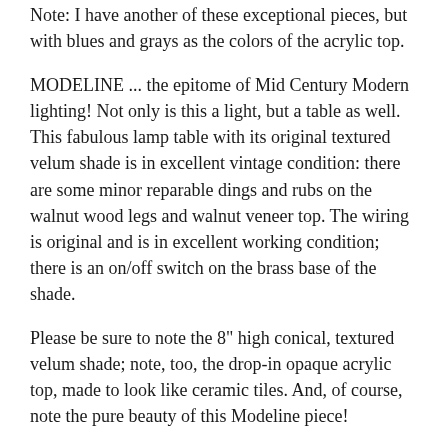Note: I have another of these exceptional pieces, but with blues and grays as the colors of the acrylic top.
MODELINE ... the epitome of Mid Century Modern lighting! Not only is this a light, but a table as well. This fabulous lamp table with its original textured velum shade is in excellent vintage condition: there are some minor reparable dings and rubs on the walnut wood legs and walnut veneer top. The wiring is original and is in excellent working condition; there is an on/off switch on the brass base of the shade.
Please be sure to note the 8" high conical, textured velum shade; note, too, the drop-in opaque acrylic top, made to look like ceramic tiles. And, of course, note the pure beauty of this Modeline piece!
The table measures approximately 21" high; the top is approximately 20" in diameter.
Sure to be the focal point and/or enhance your contemporary or vintage decor, this awesome light-up table would be a wonderful addition to both your vintage